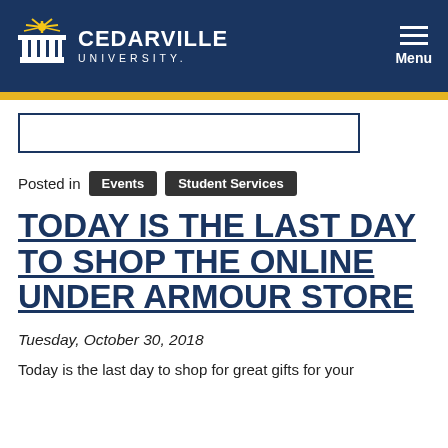CEDARVILLE UNIVERSITY — Menu
[Figure (logo): Cedarville University logo with torch/column icon and university name]
Posted in Events Student Services
TODAY IS THE LAST DAY TO SHOP THE ONLINE UNDER ARMOUR STORE
Tuesday, October 30, 2018
Today is the last day to shop for great gifts for your